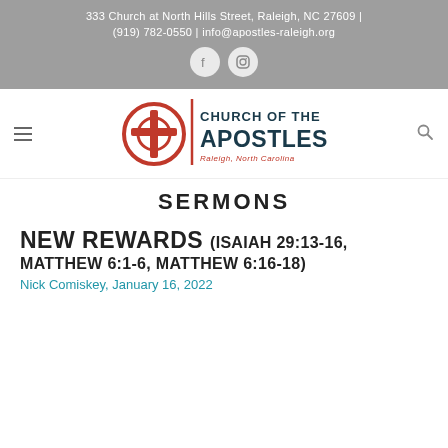333 Church at North Hills Street, Raleigh, NC 27609 | (919) 782-0550 | info@apostles-raleigh.org
[Figure (logo): Church of the Apostles logo with circular cross icon and text 'CHURCH OF THE APOSTLES Raleigh, North Carolina']
SERMONS
NEW REWARDS (ISAIAH 29:13-16, MATTHEW 6:1-6, MATTHEW 6:16-18)
Nick Comiskey, January 16, 2022